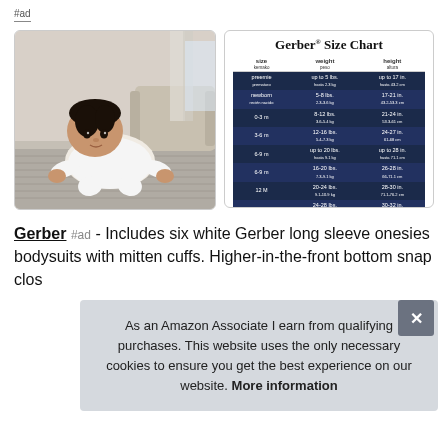#ad
[Figure (photo): Baby in white onesie crawling on a grey carpet in a living room]
[Figure (table-as-image): Gerber Size Chart showing size, weight, and height for preemie through 5T]
Gerber #ad - Includes six white Gerber long sleeve onesies bodysuits with mitten cuffs. Higher-in-the-front bottom snap clos
As an Amazon Associate I earn from qualifying purchases. This website uses the only necessary cookies to ensure you get the best experience on our website. More information